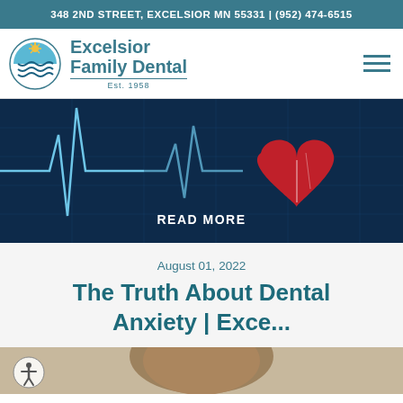348 2ND STREET, EXCELSIOR MN 55331 | (952) 474-6515
[Figure (logo): Excelsior Family Dental logo with sun/water circular icon, text 'Excelsior Family Dental', Est. 1958]
[Figure (photo): Dark blue background with white EKG/heartbeat line and a large red heart shape on the right side. Medical/cardiac themed hero image with 'READ MORE' button overlay.]
August 01, 2022
The Truth About Dental Anxiety | Exce...
[Figure (photo): Bottom strip showing partial view of a person's head/hair, cropped at bottom of page. Accessibility icon visible in bottom left corner.]